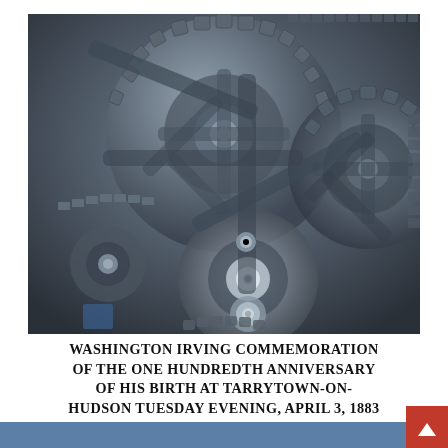[Figure (photo): Close-up photograph of interlocking clock or machine gears made of dark metal, showing multiple toothed gear wheels and mechanical components]
Washington Irving commemoration of the one hundredth anniversary of his birth at Tarrytown-on-Hudson Tuesday evening, April 3, 1883